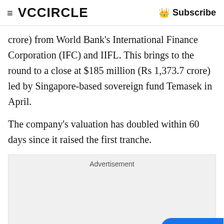≡ VCCIRCLE  👑 Subscribe
crore) from World Bank's International Finance Corporation (IFC) and IIFL. This brings to the round to a close at $185 million (Rs 1,373.7 crore) led by Singapore-based sovereign fund Temasek in April.
The company's valuation has doubled within 60 days since it raised the first tranche.
[Figure (other): Advertisement placeholder box with gray background]
A statement issued by the company said it was on track to raise an additional $400 million at a valuation of $4 billion to